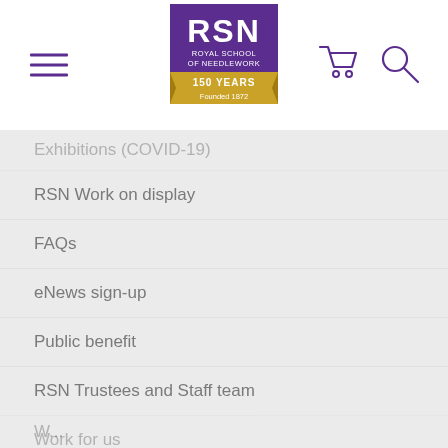[Figure (logo): RSN Royal School of Needlework 150 Years Founded 1872 logo in purple and gold]
RSN Work on display
FAQs
eNews sign-up
Public benefit
RSN Trustees and Staff team
Work for us
Diversity & Inclusion
Annual report
Terms & Conditions
Privacy Policy
Accessibility